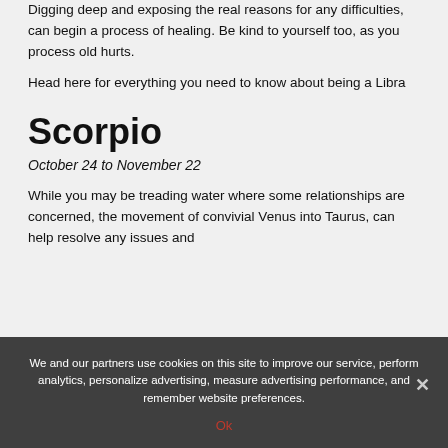Digging deep and exposing the real reasons for any difficulties, can begin a process of healing. Be kind to yourself too, as you process old hurts.
Head here for everything you need to know about being a Libra
Scorpio
October 24 to November 22
While you may be treading water where some relationships are concerned, the movement of convivial Venus into Taurus, can help resolve any issues and
We and our partners use cookies on this site to improve our service, perform analytics, personalize advertising, measure advertising performance, and remember website preferences.
Ok